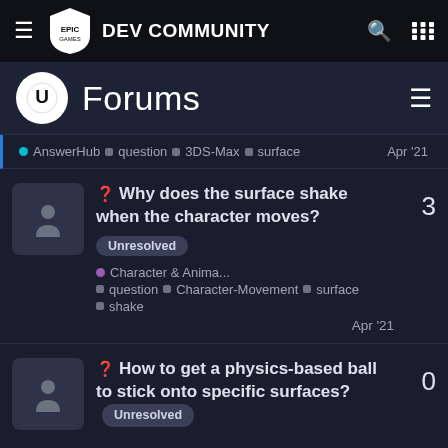EPIC GAMES DEV COMMUNITY
Forums
AnswerHub  question  3DS-Max  surface  Apr '21
Why does the surface shake when the character moves? Unresolved  Character & Anima...  question  Character-Movement  surface  shake  Apr '21  3 replies
How to get a physics-based ball to stick onto specific surfaces? Unresolved  0 replies